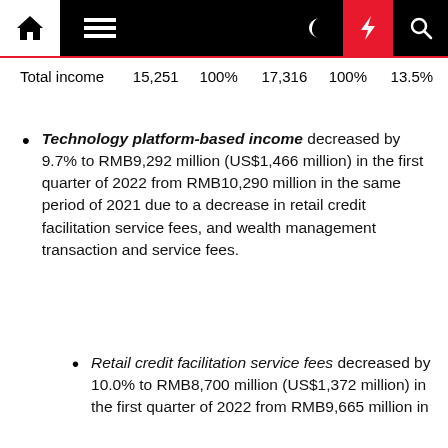| Total income | 15,251 | 100% | 17,316 | 100% | 13.5% |
Technology platform-based income decreased by 9.7% to RMB9,292 million (US$1,466 million) in the first quarter of 2022 from RMB10,290 million in the same period of 2021 due to a decrease in retail credit facilitation service fees, and wealth management transaction and service fees.
Retail credit facilitation service fees decreased by 10.0% to RMB8,700 million (US$1,372 million) in the first quarter of 2022 from RMB9,665 million in